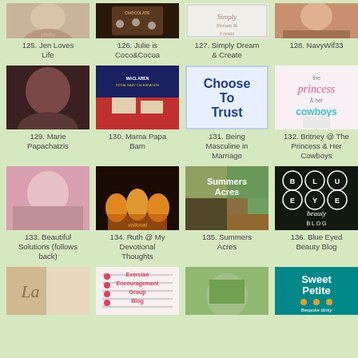[Figure (photo): Grid of blog/website thumbnails with captions numbered 125-140]
125. Jen Loves Life
126. Julie is Coco&Cocoa
127. Simply Dream & Create
128. NavyWif33
129. Marie Papachatzis
130. Mama Papa Bam
131. Being Masculine in Marriage
132. Britney @ The Princess & Her Cowboys
133. Beautiful Solutions (follows back)
134. Ruth @ My Devotional Thoughts
135. Summers Acres
136. Blue Eyed Beauty Blog
137. (partial)
138. Exercise Encouragement Group Blog
139. (partial)
140. Sweet Petite - Bespoke dinky treats